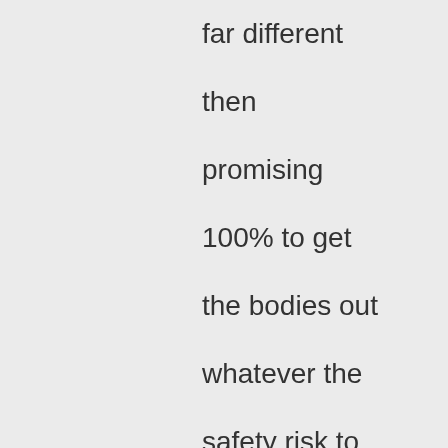far different then promising 100% to get the bodies out whatever the safety risk to those going in or flat-out ignoring the mining experts Solid Energy consulted when making their decision